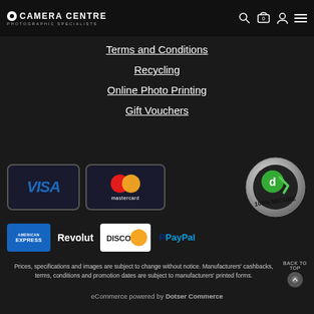Camera Centre - Photographic Specialists
Terms and Conditions
Recycling
Online Photo Printing
Gift Vouchers
[Figure (logo): Payment method logos: Visa, Mastercard, American Express, Revolut, Discover, PayPal, and 100% Secure badge]
Prices, specifications and images are subject to change without notice. Manufacturers' cashbacks, terms, conditions and promotion dates are subject to manufacturers' printed forms.
eCommerce powered by Dotser Commerce